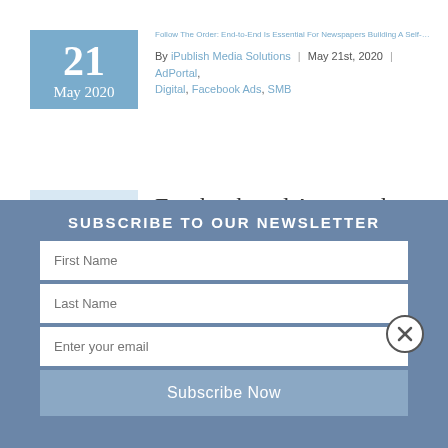Follow The Order: End-to-End Is Essential For Newspapers Building A Self-Serve Advertising Option
By iPublish Media Solutions | May 21st, 2020 | AdPortal, Digital, Facebook Ads, SMB
[Figure (illustration): Date block showing '21 May 2020' in blue]
[Figure (illustration): Image placeholder with landscape icon]
Facebook and Amazon have proven that automating the sale from marketing through e-commerce and distribution makes placing an order easier and more affordable. But aside from classified, available f... advertising platforms for publishers often do not support an end-to
SUBSCRIBE TO OUR NEWSLETTER
First Name
Last Name
Enter your email
Subscribe Now